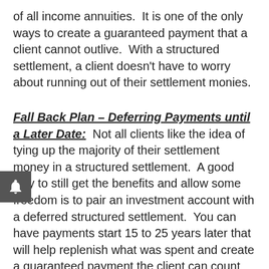of all income annuities.  It is one of the only ways to create a guaranteed payment that a client cannot outlive.  With a structured settlement, a client doesn't have to worry about running out of their settlement monies.
Fall Back Plan – Deferring Payments until a Later Date:
Not all clients like the idea of tying up the majority of their settlement money in a structured settlement.  A good way to still get the benefits and allow some freedom is to pair an investment account with a deferred structured settlement.  You can have payments start 15 to 25 years later that will help replenish what was spent and create a guaranteed payment the client can count on at a lower cost.  So even if all other investments fail and spending is too high, they will have a fall back plan.